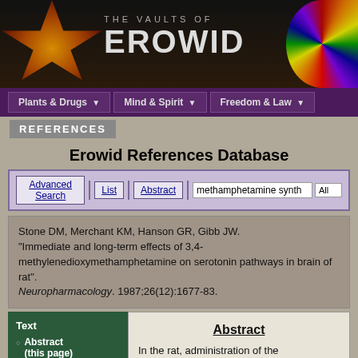[Figure (screenshot): The Vaults of Erowid website header with sun logo on left, site name in center, and mandala on right]
THE VAULTS OF EROWID
REFERENCES
Erowid References Database
Advanced Search | List | Abstract | methamphetamine synth | All
Stone DM, Merchant KM, Hanson GR, Gibb JW. “Immediate and long-term effects of 3,4-methylenedioxymethamphetamine on serotonin pathways in brain of rat”. Neuropharmacology. 1987;26(12):1677-83.
Text
Abstract (this page)
Full Text - English
Abstract
In the rat, administration of the psychoactive analog of amphetamine 3,4-methylenedioxymethamphetamine (MDMA), causes selective...